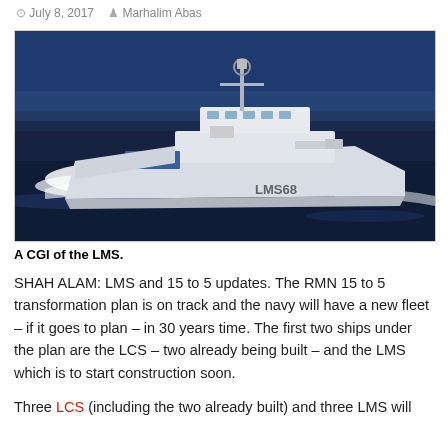July 8, 2017   Marhalim Abas
[Figure (photo): A CGI rendering of the LMS (Littoral Mission Ship) naval vessel at sea, hull number LMS68, white hull, underway in dark blue water with bow wave.]
A CGI of the LMS.
SHAH ALAM: LMS and 15 to 5 updates. The RMN 15 to 5 transformation plan is on track and the navy will have a new fleet – if it goes to plan – in 30 years time. The first two ships under the plan are the LCS – two already being built – and the LMS which is to start construction soon.
Three LCS (including the two already built) and three LMS will